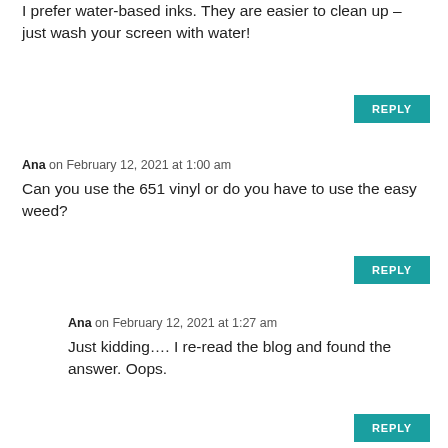I prefer water-based inks. They are easier to clean up – just wash your screen with water!
REPLY
Ana on February 12, 2021 at 1:00 am
Can you use the 651 vinyl or do you have to use the easy weed?
REPLY
Ana on February 12, 2021 at 1:27 am
Just kidding…. I re-read the blog and found the answer. Oops.
REPLY